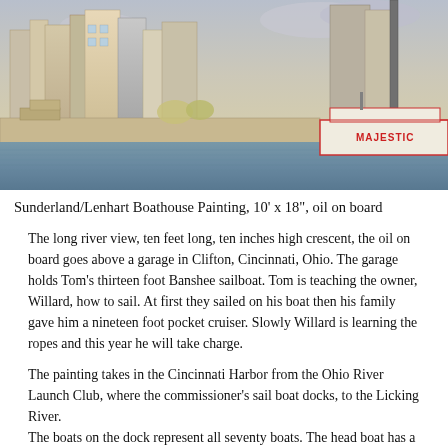[Figure (illustration): Watercolor/oil painting of Cincinnati Harbor riverfront showing city skyline with buildings, a riverboat labeled MAJESTIC on the right side, water in the foreground, painted in warm earth and blue tones. Sunderland/Lenhart Boathouse Painting.]
Sunderland/Lenhart Boathouse Painting, 10' x 18", oil on board
The long river view, ten feet long, ten inches high crescent, the oil on board goes above a garage in Clifton, Cincinnati, Ohio. The garage holds Tom's thirteen foot Banshee sailboat. Tom is teaching the owner, Willard, how to sail. At first they sailed on his boat then his family gave him a nineteen foot pocket cruiser. Slowly Willard is learning the ropes and this year he will take charge.
The painting takes in the Cincinnati Harbor from the Ohio River Launch Club, where the commissioner's sail boat docks, to the Licking River.
The boats on the dock represent all seventy boats. The head boat has a room up top for the dock master. The barge ahead is santed to